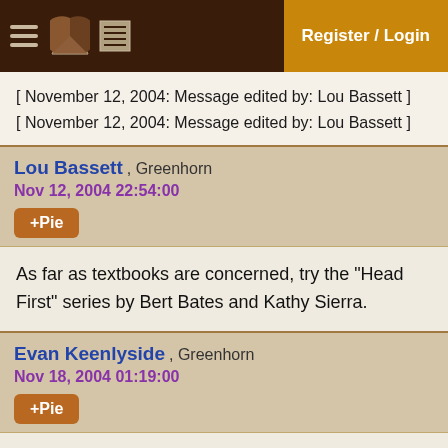Register / Login
[ November 12, 2004: Message edited by: Lou Bassett ]
[ November 12, 2004: Message edited by: Lou Bassett ]
Lou Bassett , Greenhorn
Nov 12, 2004 22:54:00
+Pie
As far as textbooks are concerned, try the "Head First" series by Bert Bates and Kathy Sierra.
Evan Keenlyside , Greenhorn
Nov 18, 2004 01:19:00
+Pie
Okay, so I got the methods figured out, but now I have to do this wierdo stuff with it. For my ass to use these methods: